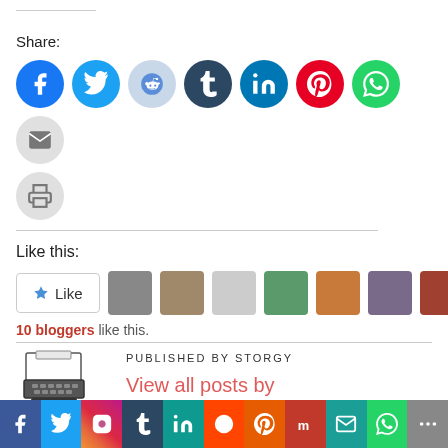Share:
[Figure (infographic): Row of social sharing icon circles: Facebook (blue), Twitter (light blue), Reddit (light blue-grey), Tumblr (dark navy), LinkedIn (blue), Pinterest (red), WhatsApp (green), Email (light grey), Print (light grey)]
Like this:
[Figure (infographic): Like button widget with star icon and 7 blogger avatar thumbnails]
10 bloggers like this.
PUBLISHED BY STORGY
View all posts by storgy
[Figure (infographic): Bottom social sharing bar with icons: Facebook (dark blue), Twitter (blue), Instagram (gradient), Tumblr (dark blue), LinkedIn (teal), Reddit (orange), Pinterest (orange-red), Mix (red), Email (teal), WhatsApp (green), More (grey)]